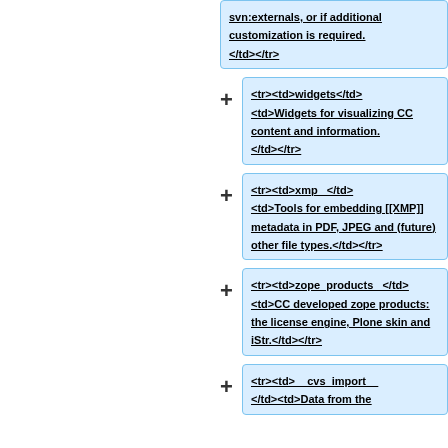<tr><td>svn:externals, or if additional customization is required.</td></tr>
+  <tr><td>widgets</td><td>Widgets for visualizing CC content and information.</td></tr>
+  <tr><td>xmp   </td><td>Tools for embedding [[XMP]] metadata in PDF, JPEG and (future) other file types.</td></tr>
+  <tr><td>zope_products  </td><td>CC developed zope products: the license engine, Plone skin and iStr.</td></tr>
+  <tr><td>__cvs_import  </td><td>Data from the...